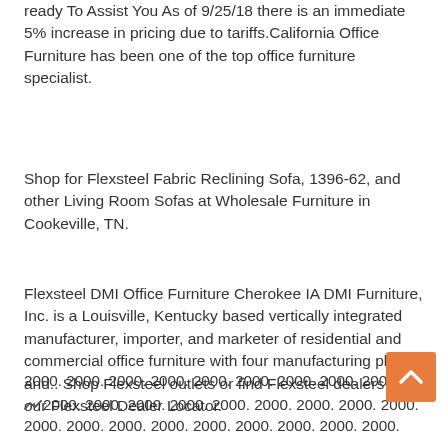ready To Assist You As of 9/25/18 there is an immediate 5% increase in pricing due to tariffs.California Office Furniture has been one of the top office furniture specialist.
Shop for Flexsteel Fabric Reclining Sofa, 1396-62, and other Living Room Sofas at Wholesale Furniture in Cookeville, TN.
Flexsteel DMI Office Furniture Cherokee IA DMI Furniture, Inc. is a Louisville, Kentucky based vertically integrated manufacturer, importer, and marketer of residential and commercial office furniture with four manufacturing plants and.. Shop Flexsteel outlets or find Flexsteel dealers from our Flexsteel Dealer Locator.
2000. 2000. 2000. 2000. 2000. 2000. 2000. 2000. 2000. 2000. 2000. 2000. 2000. 2000. 2000. 2000. 2000. 2000. 2000. 2000. 2000. 2000. 2000. 2000. 2000.